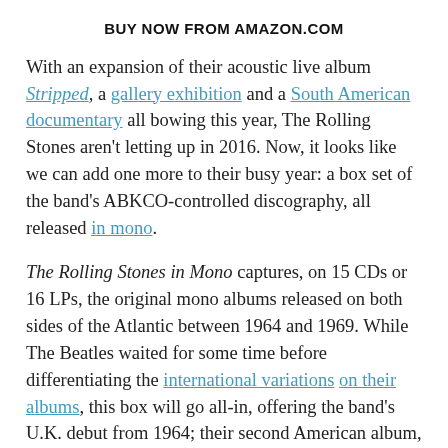BUY NOW FROM AMAZON.COM
With an expansion of their acoustic live album Stripped, a gallery exhibition and a South American documentary all bowing this year, The Rolling Stones aren't letting up in 2016. Now, it looks like we can add one more to their busy year: a box set of the band's ABKCO-controlled discography, all released in mono.
The Rolling Stones in Mono captures, on 15 CDs or 16 LPs, the original mono albums released on both sides of the Atlantic between 1964 and 1969. While The Beatles waited for some time before differentiating the international variations on their albums, this box will go all-in, offering the band's U.K. debut from 1964; their second American album, 12 X 5, from the same year; and their second and third LPs from England